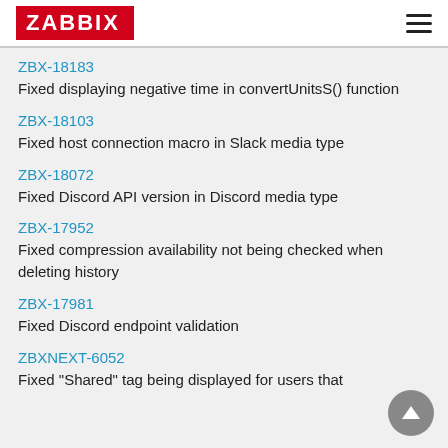ZABBIX
ZBX-18183
Fixed displaying negative time in convertUnitsS() function
ZBX-18103
Fixed host connection macro in Slack media type
ZBX-18072
Fixed Discord API version in Discord media type
ZBX-17952
Fixed compression availability not being checked when deleting history
ZBX-17981
Fixed Discord endpoint validation
ZBXNEXT-6052
Fixed "Shared" tag being displayed for users that